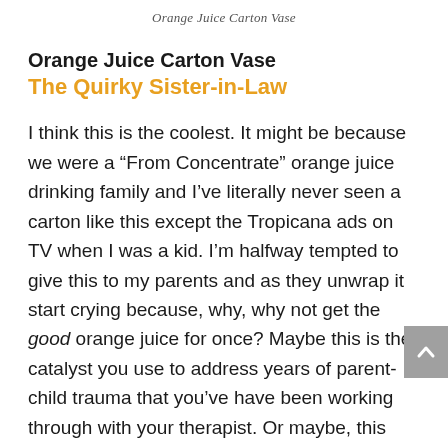Orange Juice Carton Vase
Orange Juice Carton Vase
The Quirky Sister-in-Law
I think this is the coolest. It might be because we were a “From Concentrate” orange juice drinking family and I’ve literally never seen a carton like this except the Tropicana ads on TV when I was a kid. I’m halfway tempted to give this to my parents and as they unwrap it start crying because, why, why not get the good orange juice for once? Maybe this is the catalyst you use to address years of parent-child trauma that you’ve have been working through with your therapist. Or maybe, this could just be a cute thing for your quirky sister-